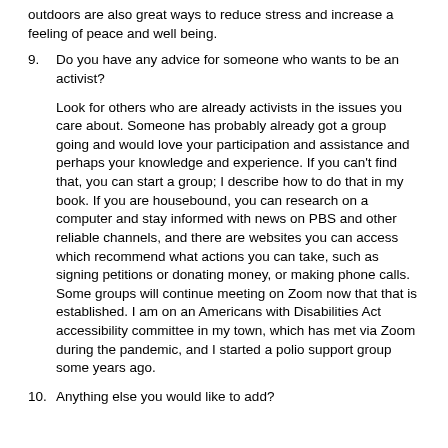outdoors are also great ways to reduce stress and increase a feeling of peace and well being.
9. Do you have any advice for someone who wants to be an activist?
Look for others who are already activists in the issues you care about. Someone has probably already got a group going and would love your participation and assistance and perhaps your knowledge and experience. If you can't find that, you can start a group; I describe how to do that in my book. If you are housebound, you can research on a computer and stay informed with news on PBS and other reliable channels, and there are websites you can access which recommend what actions you can take, such as signing petitions or donating money, or making phone calls. Some groups will continue meeting on Zoom now that that is established. I am on an Americans with Disabilities Act accessibility committee in my town, which has met via Zoom during the pandemic, and I started a polio support group some years ago.
10. Anything else you would like to add?